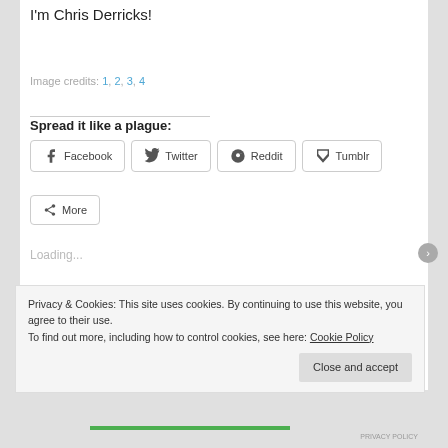I'm Chris Derricks!
Image credits: 1, 2, 3, 4
Spread it like a plague:
Facebook  Twitter  Reddit  Tumblr
More
Loading...
Privacy & Cookies: This site uses cookies. By continuing to use this website, you agree to their use.
To find out more, including how to control cookies, see here: Cookie Policy
Close and accept